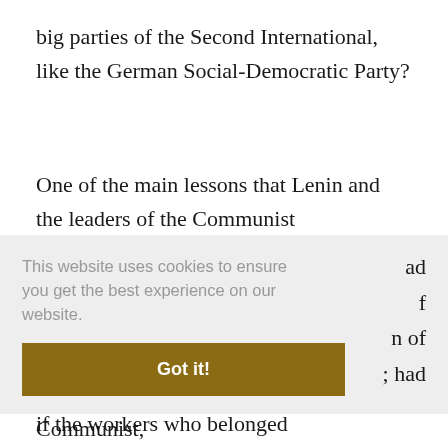big parties of the Second International, like the German Social-Democratic Party?
One of the main lessons that Lenin and the leaders of the Communist International drew from the collapse of the Second International was that, as Lenin put it, “it is therefore our duty, if we wish to remain socialists to go down lower and deeper, to the real masses.” So, if the workers who belonged
as the basis for Social Democratic, or Communist,
[Figure (screenshot): Cookie consent banner overlay. Text reads: 'This website uses cookies to ensure you get the best experience on our website.' with a gold 'Got it!' button below.]